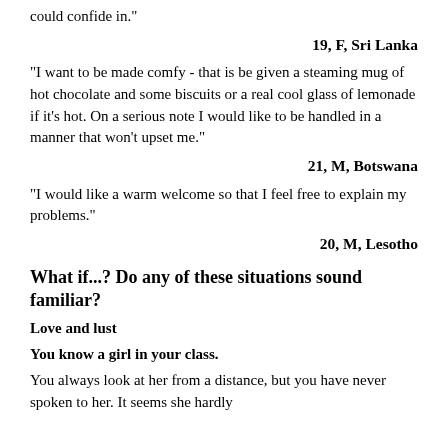could confide in."
19, F, Sri Lanka
"I want to be made comfy - that is be given a steaming mug of hot chocolate and some biscuits or a real cool glass of lemonade if it's hot. On a serious note I would like to be handled in a manner that won't upset me."
21, M, Botswana
"I would like a warm welcome so that I feel free to explain my problems."
20, M, Lesotho
What if...? Do any of these situations sound familiar?
Love and lust
You know a girl in your class.
You always look at her from a distance, but you have never spoken to her. It seems she hardly